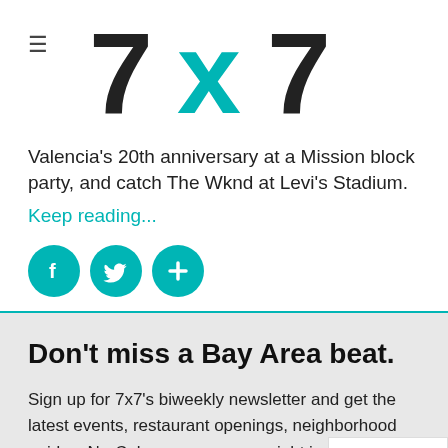7x7
Valencia's 20th anniversary at a Mission block party, and catch The Wknd at Levi's Stadium.
Keep reading...
[Figure (other): Social sharing icons: Facebook, Twitter, and a plus/add button, all in teal circles]
Don't miss a Bay Area beat.
Sign up for 7x7's biweekly newsletter and get the latest events, restaurant openings, neighborhood guides, NorCal escapes + more right in your inbox.
* Email
[Figure (other): Google reCAPTCHA badge with privacy and terms links]